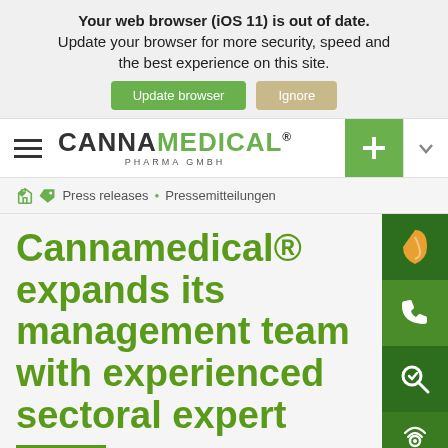Your web browser (iOS 11) is out of date. Update your browser for more security, speed and the best experience on this site.
[Figure (logo): Cannamedical Pharma GmbH logo with hamburger menu and navigation buttons]
Press releases • Pressemitteilungen
Cannamedical® expands its management team with experienced sectoral expert